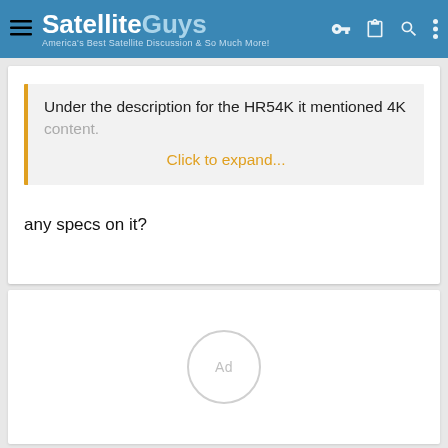SatelliteGuys — America's Best Satellite Discussion & So Much More!
Under the description for the HR54K it mentioned 4K content.
Click to expand...
any specs on it?
[Figure (other): Ad placeholder circle with 'Ad' label]